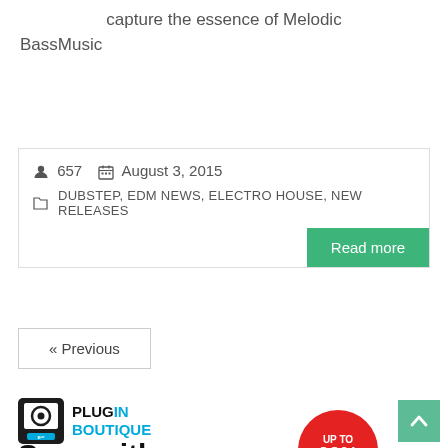capture the essence of Melodic BassMusic
657   August 3, 2015   DUBSTEP, EDM NEWS, ELECTRO HOUSE, NEW RELEASES
Read more
« Previous
[Figure (logo): Plugin Boutique logo with icon and blue text]
Save with Plugin Bundles
See Deals
UP TO 00%